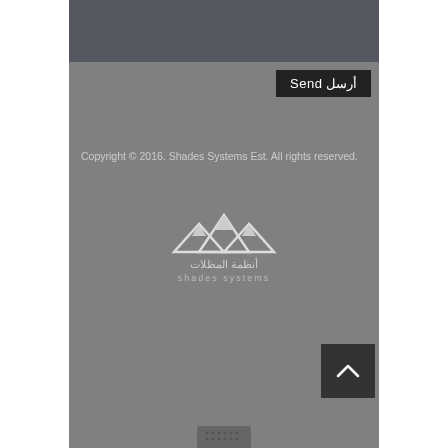[Figure (screenshot): Dark gray text input area at the top of the page]
أرسل Send
Copyright © 2016. Shades Systems Est. All rights reserved.
[Figure (logo): Shades Systems logo with mountain peaks icon and Arabic/English text: أنظمة المظلات / shades systems]
[Figure (other): Scroll-to-top button with upward chevron arrow]
[Figure (other): Bottom speaker/grid detail at the base of the page]